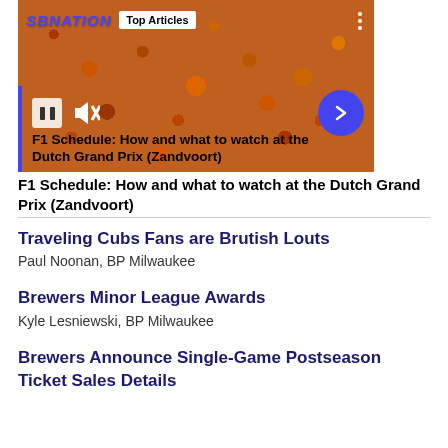[Figure (screenshot): SBNation video player showing a crowd of orange-clad fans at Dutch Grand Prix with Top Articles badge, pause/mute controls, arrow button, and article title overlay]
F1 Schedule: How and what to watch at the Dutch Grand Prix (Zandvoort)
Traveling Cubs Fans are Brutish Louts
Paul Noonan, BP Milwaukee
Brewers Minor League Awards
Kyle Lesniewski, BP Milwaukee
Brewers Announce Single-Game Postseason Ticket Sales Details